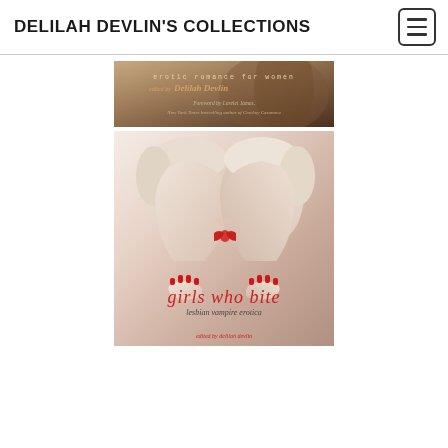DELILAH DEVLIN'S COLLECTIONS
[Figure (photo): Book cover: erotic romance for women, edited by Delilah Devlin, foreword by Lorelei James, New York Times bestselling author of Cowboy Casanova. Dark sepia-toned cover.]
[Figure (photo): Book cover: Girls Who Bite - Lesbian Vampire Erotica. Two pale blonde women with red eye makeup facing each other as if about to kiss, red manicured hands. Title text in red italic 'girls who bite', subtitle 'lesbian vampire erotica', edited by Delilah Devlin at bottom.]